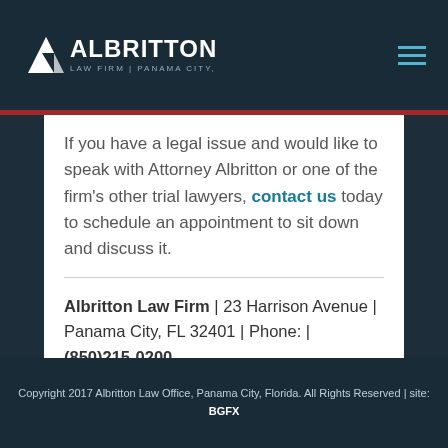Albritton Law Firm | Panama City, Florida
If you have a legal issue and would like to speak with Attorney Albritton or one of the firm's other trial lawyers, contact us today to schedule an appointment to sit down and discuss it.
Albritton Law Firm | 23 Harrison Avenue | Panama City, FL 32401 | Phone: | (850)215-0200
Copyright 2017 Albritton Law Office, Panama City, Florida. All Rights Reserved | site: BGFX